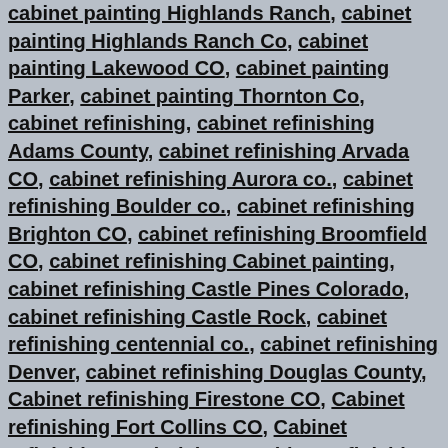cabinet painting Highlands Ranch, cabinet painting Highlands Ranch Co, cabinet painting Lakewood CO, cabinet painting Parker, cabinet painting Thornton Co, cabinet refinishing, cabinet refinishing Adams County, cabinet refinishing Arvada CO, cabinet refinishing Aurora co., cabinet refinishing Boulder co., cabinet refinishing Brighton CO, cabinet refinishing Broomfield CO, cabinet refinishing Cabinet painting, cabinet refinishing Castle Pines Colorado, cabinet refinishing Castle Rock, cabinet refinishing centennial co., cabinet refinishing Denver, cabinet refinishing Douglas County, Cabinet refinishing Firestone CO, Cabinet refinishing Fort Collins CO, Cabinet refinishing Frederick CO, cabinet refinishing Highlands Ranch, cabinet refinishing Jefferson County, Cabinet refinishing Lafayette CO, cabinet refinishing Lakewood co., cabinet refinishing Larkspur, cabinet refinishing Littleton co., Cabinet refinishing Louisville CO, Cabinet refinishing